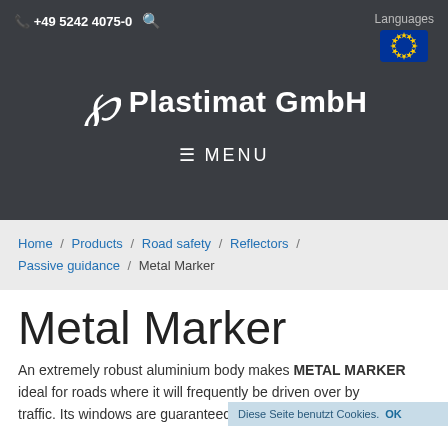+49 5242 4075-0   Languages
[Figure (logo): Plastimat GmbH logo with stylized P symbol and company name in white on dark background]
[Figure (illustration): EU flag icon showing blue flag with yellow stars circle]
≡ MENU
Home / Products / Road safety / Reflectors / Passive guidance / Metal Marker
Metal Marker
An extremely robust aluminium body makes METAL MARKER ideal for roads where it will frequently be driven over by traffic. Its windows are guaranteed to always offer...
Diese Seite benutzt Cookies. OK